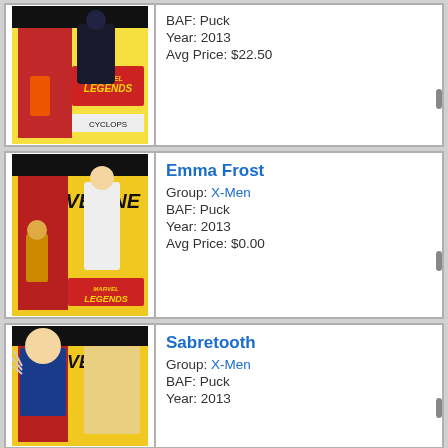[Figure (photo): Marvel Legends Cyclops action figure in packaging (Marvel Legends, Wolverine series)]
BAF: Puck
Year: 2013
Avg Price: $22.50
[Figure (photo): Marvel Legends Emma Frost action figure in packaging (Wolverine series)]
Emma Frost
Group: X-Men
BAF: Puck
Year: 2013
Avg Price: $0.00
[Figure (photo): Marvel Legends Sabretooth action figure in packaging (Wolverine series)]
Sabretooth
Group: X-Men
BAF: Puck
Year: 2013